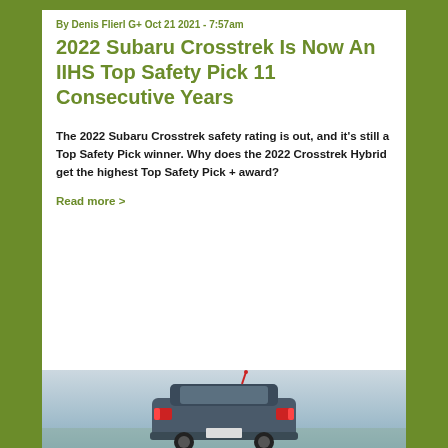By Denis Flierl G+ Oct 21 2021 - 7:57am
2022 Subaru Crosstrek Is Now An IIHS Top Safety Pick 11 Consecutive Years
The 2022 Subaru Crosstrek safety rating is out, and it's still a Top Safety Pick winner. Why does the 2022 Crosstrek Hybrid get the highest Top Safety Pick + award?
Read more >
[Figure (photo): Photo of a Subaru Crosstrek vehicle viewed from the rear, parked outdoors with sky in background]